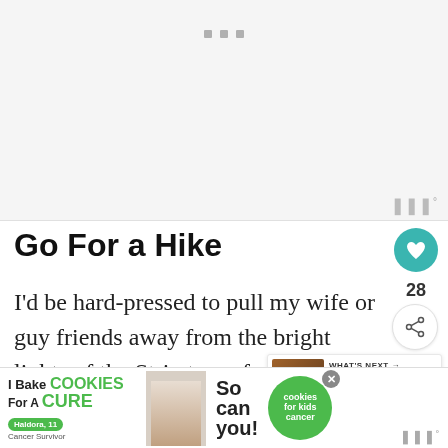[Figure (photo): Placeholder image area at the top of the article, light gray background with three small gray square dots at the top center and a watermark logo at the bottom right]
Go For a Hike
I'd be hard-pressed to pull my wife or guy friends away from the bright lights of the Strip to go for a hike, but exploring has quickly risen to the top of my list of top
[Figure (infographic): WHAT'S NEXT arrow label with thumbnail image and text: Speakeasies In Las Vegas...]
[Figure (infographic): Bottom advertisement banner: I Bake COOKIES For A CURE, Haldora 11 Cancer Survivor, So can you!, cookies for kids cancer, with close X button]